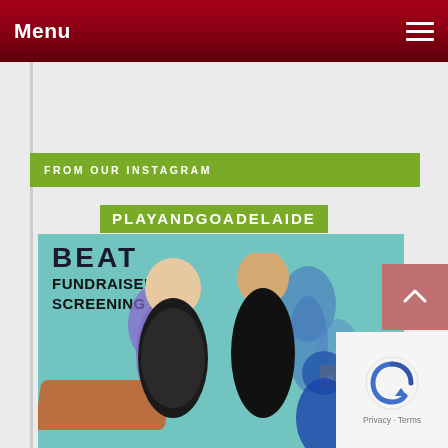Menu
FROM OUR INSTAGRAM
PLAYANDGOADELAIDE
[Figure (photo): Fundraiser screening promotional poster for Grease (1978). Teal background with cutout images of Sandy and Danny from Grease in center, purple-tinted background characters, text reading 'FUNDRAISER SCREENING' in bold black sans-serif. RYDELL logo visible on right side.]